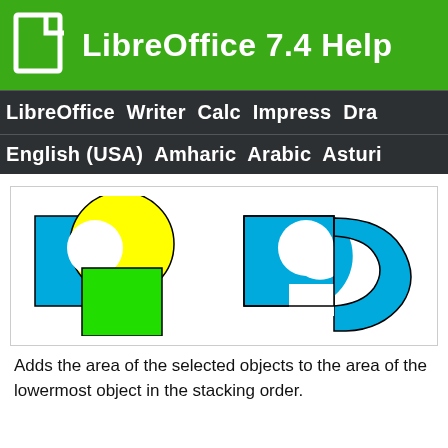LibreOffice 7.4 Help
LibreOffice  Writer  Calc  Impress  Draw
English (USA)  Amharic  Arabic  Asturi...
[Figure (illustration): Two diagrams showing shape merge operation. Left: blue rectangle, yellow circle, and green rectangle overlapping. Right: resulting merged cyan/blue shape with holes cut out showing the union with subtracted overlapping areas.]
Adds the area of the selected objects to the area of the lowermost object in the stacking order.